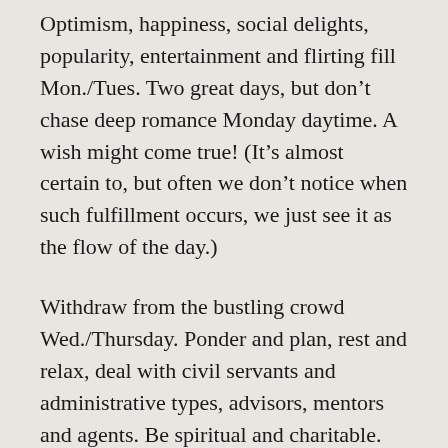Optimism, happiness, social delights, popularity, entertainment and flirting fill Mon./Tues. Two great days, but don't chase deep romance Monday daytime. A wish might come true! (It's almost certain to, but often we don't notice when such fulfillment occurs, we just see it as the flow of the day.)
Withdraw from the bustling crowd Wed./Thursday. Ponder and plan, rest and relax, deal with civil servants and administrative types, advisors, mentors and agents. Be spiritual and charitable. This is one of the luckiest intervals this week, offering success with government, large corporations and institutions. Envision the four weeks ahead during these two days; you'll receive a remarkable taste of the events and